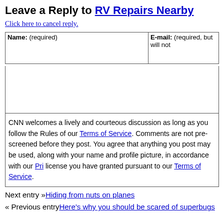Leave a Reply to RV Repairs Nearby
Click here to cancel reply.
| Name: (required) | E-mail: (required, but will not be published) |
| --- | --- |
|  |  |
CNN welcomes a lively and courteous discussion as long as you follow the Rules of our Terms of Service. Comments are not pre-screened before they post. You agree that anything you post may be used, along with your name and profile picture, in accordance with our Privacy Policy and the license you have granted pursuant to our Terms of Service.
Next entry »Hiding from nuts on planes
« Previous entryHere's why you should be scared of superbugs